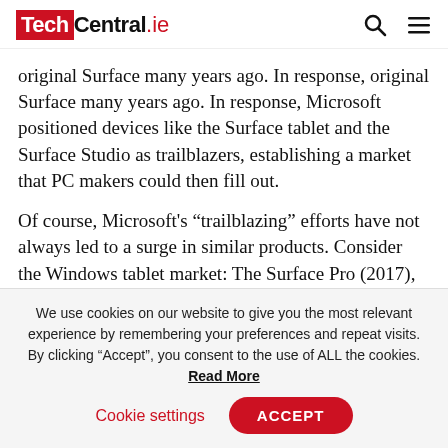TechCentral.ie
original Surface many years ago. In response, Microsoft positioned devices like the Surface tablet and the Surface Studio as trailblazers, establishing a market that PC makers could then fill out.
Of course, Microsoft’s “trailblazing” efforts have not always led to a surge in similar products. Consider the Windows tablet market: The Surface Pro (2017), Surface Pro 6, and the recent Surface Pro 7 simply have not faced much competition, as OEMs somewhat de-emphasised tablets in favour of more traditional
We use cookies on our website to give you the most relevant experience by remembering your preferences and repeat visits. By clicking “Accept”, you consent to the use of ALL the cookies. Read More
Cookie settings  ACCEPT